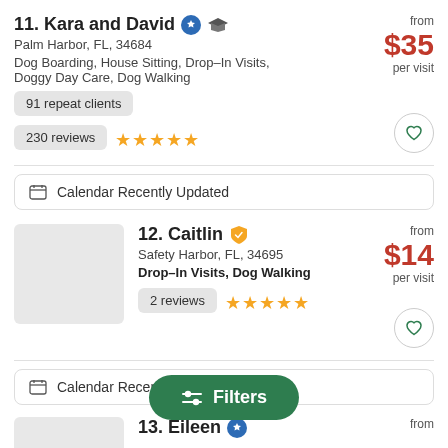11. Kara and David — Palm Harbor, FL, 34684 — Dog Boarding, House Sitting, Drop-In Visits, Doggy Day Care, Dog Walking — from $35 per visit — 91 repeat clients — 230 reviews ★★★★★
Calendar Recently Updated
12. Caitlin — Safety Harbor, FL, 34695 — Drop-In Visits, Dog Walking — from $14 per visit — 2 reviews ★★★★★
Calendar Recently Updated
13. Eileen — from
Filters